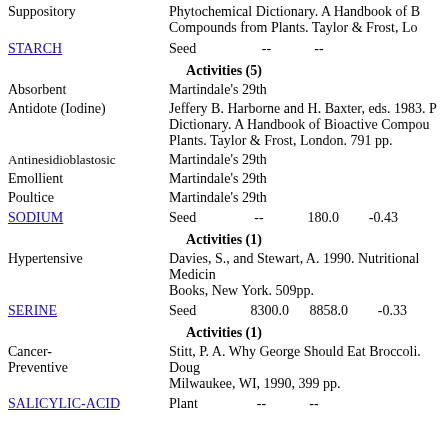Suppository — Phytochemical Dictionary. A Handbook of Bioactive Compounds from Plants. Taylor & Frost, London.
STARCH — Seed -- --
Activities (5)
Absorbent — Martindale's 29th
Antidote (Iodine) — Jeffery B. Harborne and H. Baxter, eds. 1983. Phytochemical Dictionary. A Handbook of Bioactive Compounds from Plants. Taylor & Frost, London. 791 pp.
Antinesidioblastosic — Martindale's 29th
Emollient — Martindale's 29th
Poultice — Martindale's 29th
SODIUM — Seed -- 180.0 -0.43
Activities (1)
Hypertensive — Davies, S., and Stewart, A. 1990. Nutritional Medicine. Avon Books, New York. 509pp.
SERINE — Seed 8300.0 8858.0 -0.33
Activities (1)
Cancer-Preventive — Stitt, P. A. Why George Should Eat Broccoli. Dougherty Co, Milwaukee, WI, 1990, 399 pp.
SALICYLIC-ACID — Plant -- --